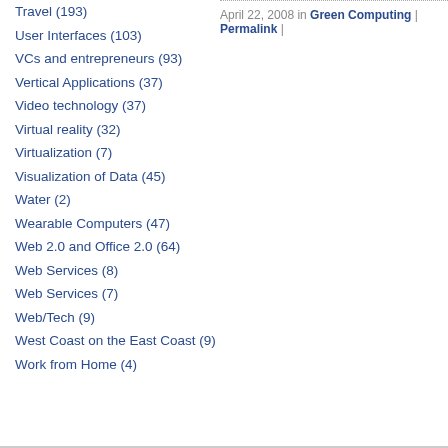Travel (193)
User Interfaces (103)
VCs and entrepreneurs (93)
Vertical Applications (37)
Video technology (37)
Virtual reality (32)
Virtualization (7)
Visualization of Data (45)
Water (2)
Wearable Computers (47)
Web 2.0 and Office 2.0 (64)
Web Services (8)
Web Services (7)
Web/Tech (9)
West Coast on the East Coast (9)
Work from Home (4)
April 22, 2008 in Green Computing | Permalink |